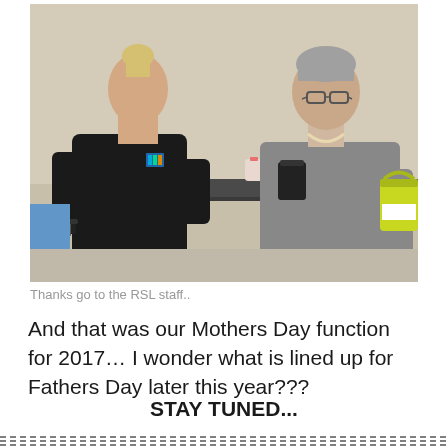[Figure (photo): Two women standing in a room. On the left, a woman with blonde hair in a bun wearing a black short-sleeve polo shirt. On the right, a woman with short grey hair wearing glasses and a grey top, holding a dark cup and a yellow-green bucket. A table with supplies is visible in the background.]
Thanks go to the RSL staff..
And that was our Mothers Day function for 2017… I wonder what is lined up for Fathers Day later this year???
STAY TUNED...